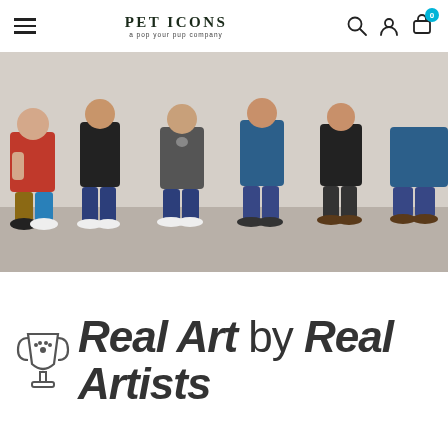PET ICONS — a pop your pup company
[Figure (photo): Group photo of several people crouching/kneeling together in a room, wearing casual clothes (jeans, sneakers). The photo is cropped to show mostly their lower bodies and hands.]
Real Art by Real Artists